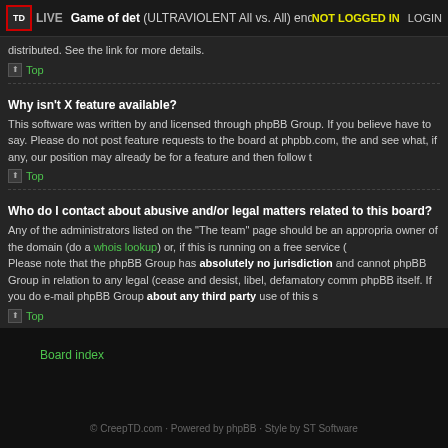Game of det (ULTRAVIOLENT All vs. All) ended. Final positions: 1. det, 2. urxi — NOT LOGGED IN  LOGIN
distributed. See the link for more details.
Why isn't X feature available?
This software was written by and licensed through phpBB Group. If you believe have to say. Please do not post feature requests to the board at phpbb.com, the and see what, if any, our position may already be for a feature and then follow t
Who do I contact about abusive and/or legal matters related to this board?
Any of the administrators listed on the "The team" page should be an appropria owner of the domain (do a whois lookup) or, if this is running on a free service ( Please note that the phpBB Group has absolutely no jurisdiction and cannot phpBB Group in relation to any legal (cease and desist, libel, defamatory comm phpBB itself. If you do e-mail phpBB Group about any third party use of this s
Board index
© CreepTD.com · Powered by phpBB · Style by ST Software